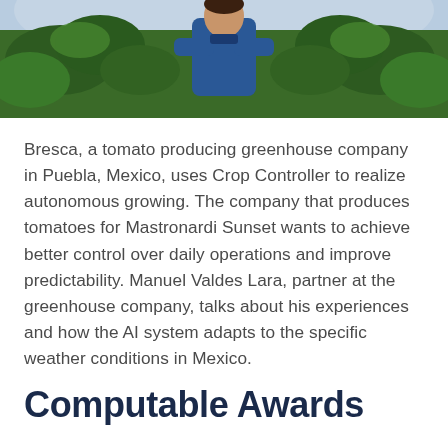[Figure (photo): A person in a blue uniform with arms crossed standing in a greenhouse with green plants]
Bresca, a tomato producing greenhouse company in Puebla, Mexico, uses Crop Controller to realize autonomous growing. The company that produces tomatoes for Mastronardi Sunset wants to achieve better control over daily operations and improve predictability. Manuel Valdes Lara, partner at the greenhouse company, talks about his experiences and how the AI system adapts to the specific weather conditions in Mexico.
Computable Awards